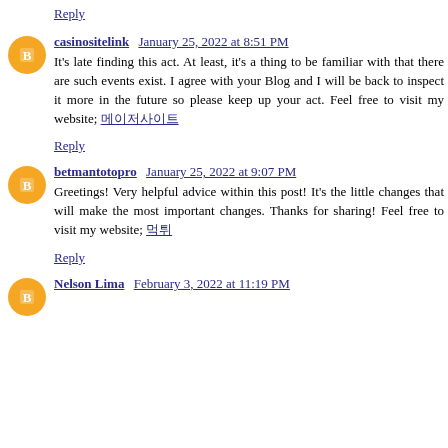Reply
casinositelink January 25, 2022 at 8:51 PM
It's late finding this act. At least, it's a thing to be familiar with that there are such events exist. I agree with your Blog and I will be back to inspect it more in the future so please keep up your act. Feel free to visit my website; 메이저사이트
Reply
betmantotopro January 25, 2022 at 9:07 PM
Greetings! Very helpful advice within this post! It's the little changes that will make the most important changes. Thanks for sharing! Feel free to visit my website; 먹튀
Reply
Nelson Lima February 3, 2022 at 11:19 PM